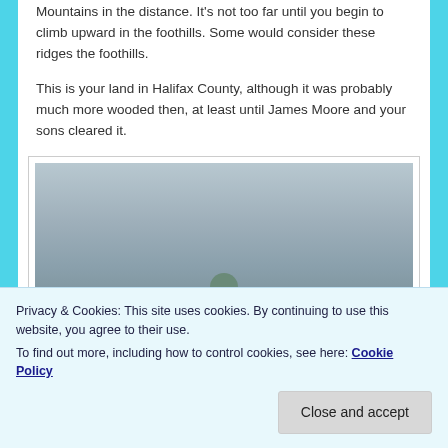Mountains in the distance. It's not too far until you begin to climb upward in the foothills. Some would consider these ridges the foothills.
This is your land in Halifax County, although it was probably much more wooded then, at least until James Moore and your sons cleared it.
[Figure (photo): A misty, overcast landscape photograph with grey-blue sky and a hint of a dark tree or bush shape near the bottom center of the image.]
Privacy & Cookies: This site uses cookies. By continuing to use this website, you agree to their use.
To find out more, including how to control cookies, see here: Cookie Policy